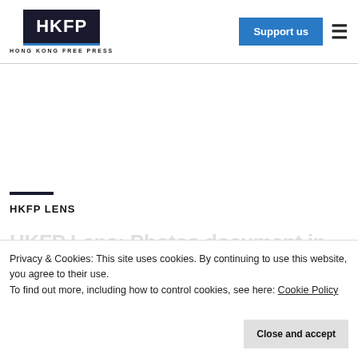HKFP | HONG KONG FREE PRESS | Support us
HKFP LENS
HKFP Lens: Photos document the last of Hong Kong's Tiananmen Square Massacre vigil
Privacy & Cookies: This site uses cookies. By continuing to use this website, you agree to their use. To find out more, including how to control cookies, see here: Cookie Policy
Close and accept